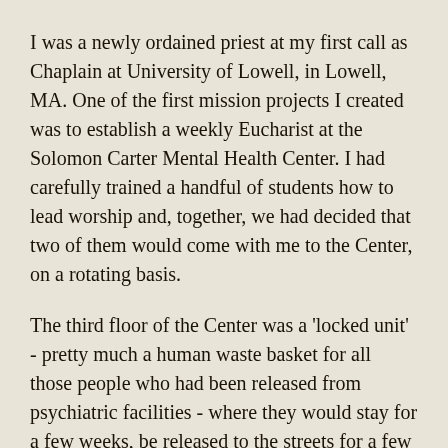I was a newly ordained priest at my first call as Chaplain at University of Lowell, in Lowell, MA. One of the first mission projects I created was to establish a weekly Eucharist at the Solomon Carter Mental Health Center. I had carefully trained a handful of students how to lead worship and, together, we had decided that two of them would come with me to the Center, on a rotating basis.
The third floor of the Center was a 'locked unit' - pretty much a human waste basket for all those people who had been released from psychiatric facilities - where they would stay for a few weeks, be released to the streets for a few weeks and then, readmitted again after a brief stopover at the Lowell Police Station and the City Jail for some obtuse, vague charge as 'disturbing the peace'.
I had secured permission to provide a service of Holy Communion, as it would be advertised, making sure the